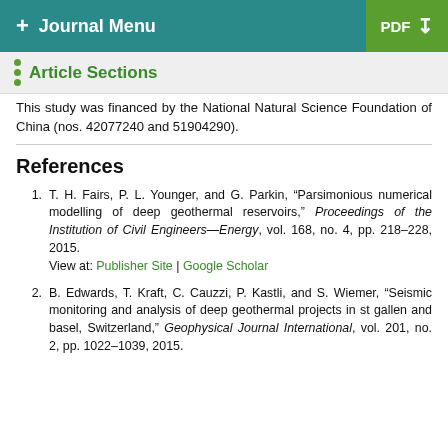+ Journal Menu | PDF ↓
Article Sections
This study was financed by the National Natural Science Foundation of China (nos. 42077240 and 51904290).
References
1. T. H. Fairs, P. L. Younger, and G. Parkin, "Parsimonious numerical modelling of deep geothermal reservoirs," Proceedings of the Institution of Civil Engineers—Energy, vol. 168, no. 4, pp. 218–228, 2015. View at: Publisher Site | Google Scholar
2. B. Edwards, T. Kraft, C. Cauzzi, P. Kastli, and S. Wiemer, "Seismic monitoring and analysis of deep geothermal projects in st gallen and basel, Switzerland," Geophysical Journal International, vol. 201, no. 2, pp. 1022–1039, 2015.